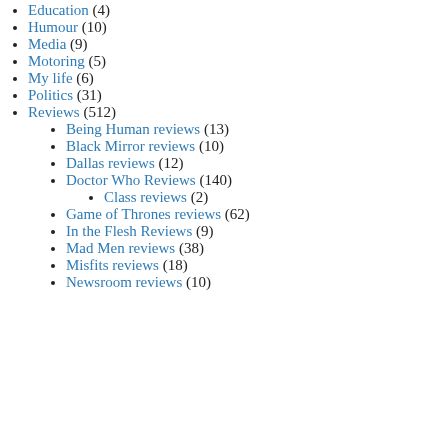Education (4)
Humour (10)
Media (9)
Motoring (5)
My life (6)
Politics (31)
Reviews (512)
Being Human reviews (13)
Black Mirror reviews (10)
Dallas reviews (12)
Doctor Who Reviews (140)
Class reviews (2)
Game of Thrones reviews (62)
In the Flesh Reviews (9)
Mad Men reviews (38)
Misfits reviews (18)
Newsroom reviews (10)